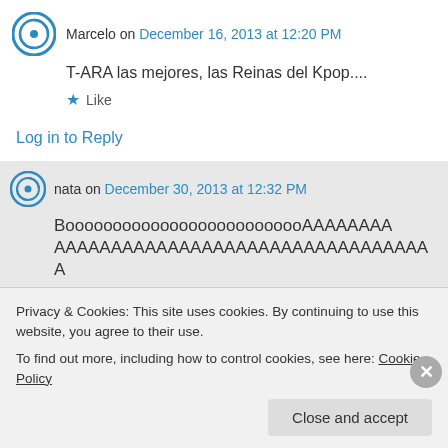Marcelo on December 16, 2013 at 12:20 PM
T-ARA las mejores, las Reinas del Kpop....
★ Like
Log in to Reply
nata on December 30, 2013 at 12:32 PM
BoooooooooooooooooooooooooAAAAAAAAAAAAAAAAAAAAAAAAAAAAAAAAAAAAAAAAAAAAAAAA
Privacy & Cookies: This site uses cookies. By continuing to use this website, you agree to their use. To find out more, including how to control cookies, see here: Cookie Policy
Close and accept